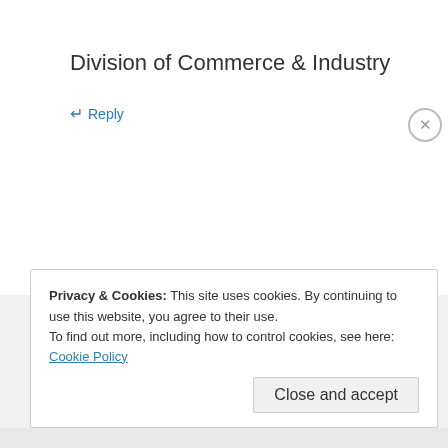Division of Commerce & Industry
↵ Reply
Moses
January 10, 2014 at 1:55 am
We are searching for Geema Limited
Privacy & Cookies: This site uses cookies. By continuing to use this website, you agree to their use.
To find out more, including how to control cookies, see here: Cookie Policy
Close and accept